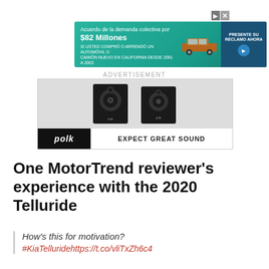[Figure (screenshot): Banner advertisement in teal/green: 'Acuerdo de la demanda colectiva por $82 Millones' with car image and 'PRESENTE SU RECLAMO AHORA' button]
[Figure (screenshot): Polk Audio advertisement showing two black bookshelf speakers on gray background with 'polk' logo and 'EXPECT GREAT SOUND' slogan]
ADVERTISEMENT
One MotorTrend reviewer's experience with the 2020 Telluride
How's this for motivation?
#KiaTelluridehttps://t.co/vliTxZh6c4